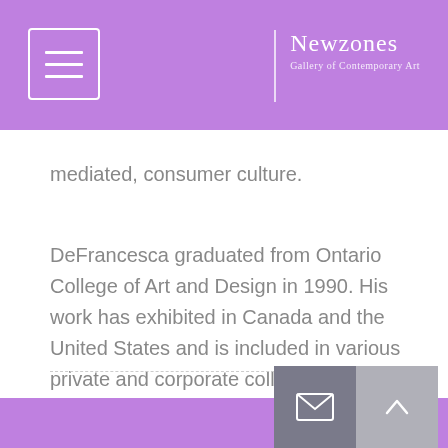Newzones Gallery of Contemporary Art
mediated, consumer culture.
DeFrancesca graduated from Ontario College of Art and Design in 1990. His work has exhibited in Canada and the United States and is included in various private and corporate collections throughout North America and Europe.